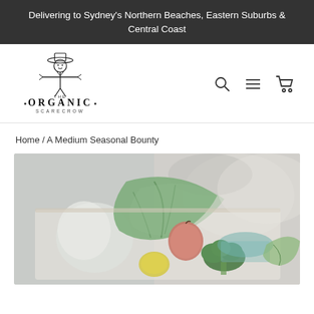Delivering to Sydney's Northern Beaches, Eastern Suburbs & Central Coast
[Figure (logo): The Organic Scarecrow logo featuring a scarecrow illustration above the text 'THE ORGANIC SCARECROW']
Home / A Medium Seasonal Bounty
[Figure (photo): Photo of a box of seasonal organic vegetables and fruit including leafy greens, broccoli, apple, lemon, and other produce]